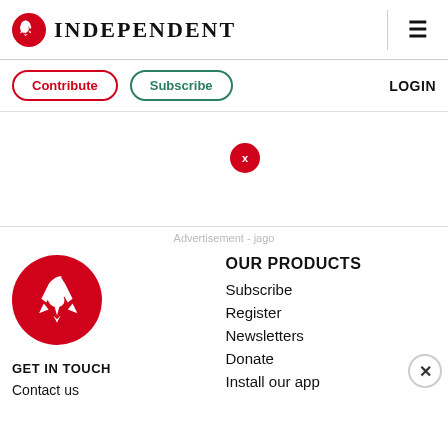INDEPENDENT
Contribute  Subscribe  LOGIN
Advertisement - jago
[Figure (logo): Independent eagle logo in red circle]
GET IN TOUCH
Contact us
OUR PRODUCTS
Subscribe
Register
Newsletters
Donate
Install our app